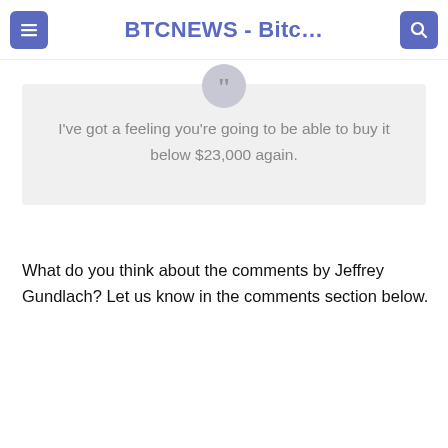BTCNEWS - Bitc…
I've got a feeling you're going to be able to buy it below $23,000 again.
What do you think about the comments by Jeffrey Gundlach? Let us know in the comments section below.